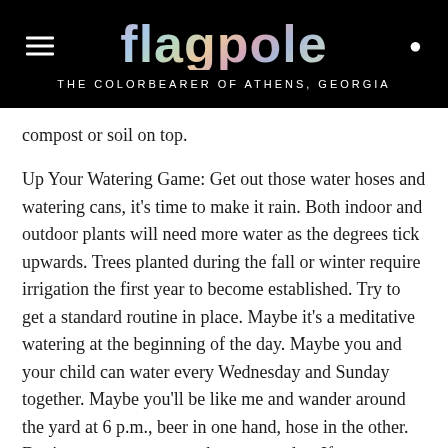flagpole — THE COLORBEARER OF ATHENS, GEORGIA
compost or soil on top.
Up Your Watering Game: Get out those water hoses and watering cans, it's time to make it rain. Both indoor and outdoor plants will need more water as the degrees tick upwards. Trees planted during the fall or winter require irrigation the first year to become established. Try to get a standard routine in place. Maybe it's a meditative watering at the beginning of the day. Maybe you and your child can water every Wednesday and Sunday together. Maybe you'll be like me and wander around the yard at 6 p.m., beer in one hand, hose in the other. Don't water every green shoot every day. If you frequently